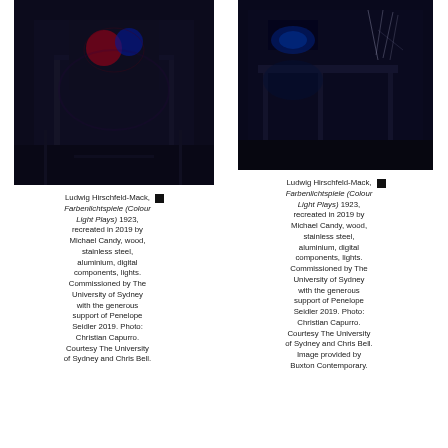[Figure (photo): Dark art installation photo showing illuminated display with coloured lights (red, blue) on a dark background with structural frames]
Ludwig Hirschfeld-Mack, Farbenlichtspiele (Colour Light Plays) 1923, recreated in 2019 by Michael Candy, wood, stainless steel, aluminium, digital components, lights. Commissioned by The University of Sydney with the generous support of Penelope Seidler 2019. Photo: Christian Capurro. Courtesy The University of Sydney and Chris Bell.
[Figure (photo): Dark art installation photo showing illuminated sculptural elements with blue lighting and wire structures on a dark background]
Ludwig Hirschfeld-Mack, Farbenlichtspiele (Colour Light Plays) 1923, recreated in 2019 by Michael Candy, wood, stainless steel, aluminium, digital components, lights. Commissioned by The University of Sydney with the generous support of Penelope Seidler 2019. Photo: Christian Capurro. Courtesy The University of Sydney and Chris Bell. Image provided by Buxton Contemporary.